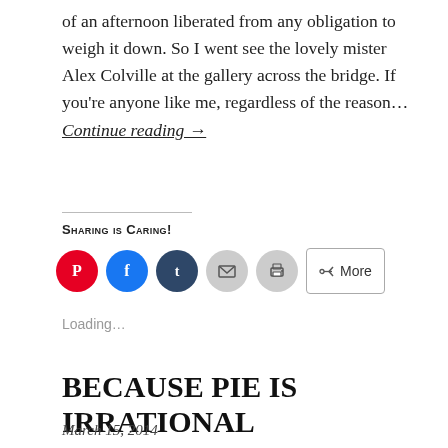of an afternoon liberated from any obligation to weigh it down. So I went see the lovely mister Alex Colville at the gallery across the bridge. If you're anyone like me, regardless of the reason… Continue reading →
Sharing is Caring!
[Figure (infographic): Social sharing buttons: Pinterest (red circle), Facebook (blue circle), Tumblr (dark blue circle), Email (grey circle), Print (grey circle), More button]
Loading…
BECAUSE PIE IS IRRATIONAL
March 15, 2014